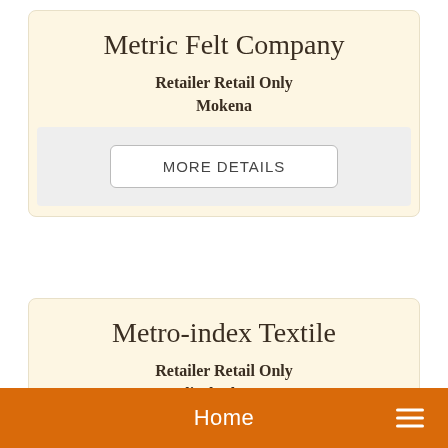Metric Felt Company
Retailer Retail Only
Mokena
MORE DETAILS
Metro-index Textile
Retailer Retail Only
Elizabethtown
MORE DETAILS
Home